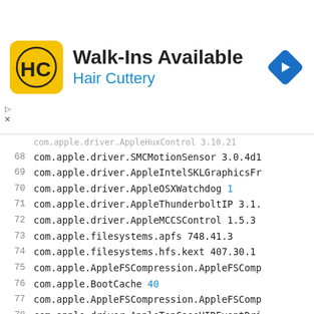[Figure (other): Hair Cuttery advertisement banner with logo, Walk-Ins Available text, and navigation arrow icon]
| Line | Code |
| --- | --- |
|  | com.apple.driver.AppleHuxControl 3.10.21 |
| 68 | com.apple.driver.SMCMotionSensor 3.0.4d1 |
| 69 | com.apple.driver.AppleIntelSKLGraphicsFr |
| 70 | com.apple.driver.AppleOSXWatchdog 1 |
| 71 | com.apple.driver.AppleThunderboltIP 3.1. |
| 72 | com.apple.driver.AppleMCCSControl 1.5.3 |
| 73 | com.apple.filesystems.apfs 748.41.3 |
| 74 | com.apple.filesystems.hfs.kext 407.30.1 |
| 75 | com.apple.AppleFSCompression.AppleFSComp |
| 76 | com.apple.BootCache 40 |
| 77 | com.apple.AppleFSCompression.AppleFSComp |
| 78 | com.apple.driver.AppleTopCaseHIDEventDri |
| 79 | com.apple.driver.AirPort.BrcmNIC 1220.28 |
| 80 | com.apple.driver.AppleSmartBatteryManage |
| 81 | com.apple.driver.AppleACPIButtons 6.1 |
| 82 | com.apple.driver.AppleRTC 2.0 |
| 83 | com.apple.driver.AppleSMBIOS 2.1 |
| 84 | com.apple.driver.AppleACPIEC 6.1 |